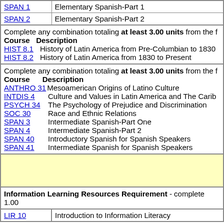| Course | Description |
| --- | --- |
| SPAN 1 | Elementary Spanish-Part 1 |
| SPAN 2 | Elementary Spanish-Part 2 |
Complete any combination totaling at least 3.00 units from the following:
Course  Description
HIST 8.1  History of Latin America from Pre-Columbian to 1830
HIST 8.2  History of Latin America from 1830 to Present
Complete any combination totaling at least 3.00 units from the following:
Course  Description
ANTHRO 31  Mesoamerican Origins of Latino Culture
INTDIS 4  Culture and Values in Latin America and The Caribbean
PSYCH 34  The Psychology of Prejudice and Discrimination
SOC 30  Race and Ethnic Relations
SPAN 3  Intermediate Spanish-Part One
SPAN 4  Intermediate Spanish-Part 2
SPAN 40  Introductory Spanish for Spanish Speakers
SPAN 41  Intermediate Spanish for Spanish Speakers
Information Learning Resources Requirement - complete 1.00
| Course | Description |
| --- | --- |
| LIR 10 | Introduction to Information Literacy |